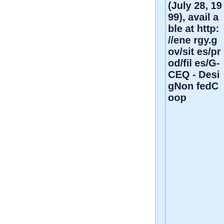(July 28, 1999), available at http://energy.gov/sites/prod/files/G-CEQ-DesigNonfedCoop